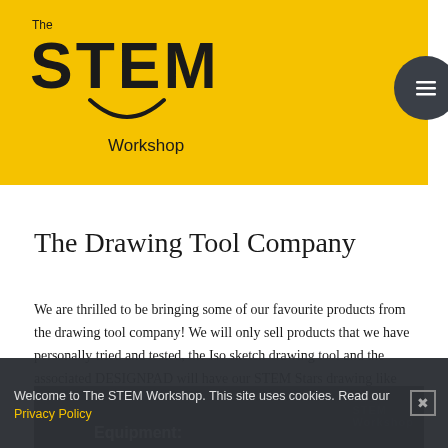[Figure (logo): The STEM Workshop logo on yellow background with large stylized STEM text and smile arc underneath, with a dark circular menu button in the top right]
The Drawing Tool Company
We are thrilled to be bringing some of our favourite products from the drawing tool company! We will only sell products that we have personally tried and tested, the Iso sketch drawing tool and the associated DESIGNPAD will have our STEM Stars drawing like professional designers and engineers in no time!
[Figure (photo): Dark angled image showing drawing equipment with STEM Workshop branding, with 'Equipment:' text visible]
Welcome to The STEM Workshop. This site uses cookies. Read our Privacy Policy